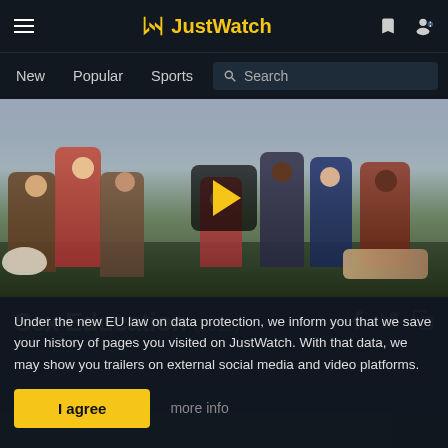JustWatch navigation bar with hamburger menu, JustWatch logo, bookmark icon, user icon
New | Popular | Sports | Search
[Figure (photo): Sex Education TV show cast promotional photo showing multiple cast members standing in a field, with a play button overlay in the center]
Sex Education (2019)
Under the new EU law on data protection, we inform you that we save your history of pages you visited on JustWatch. With that data, we may show you trailers on external social media and video platforms.
I agree | more info